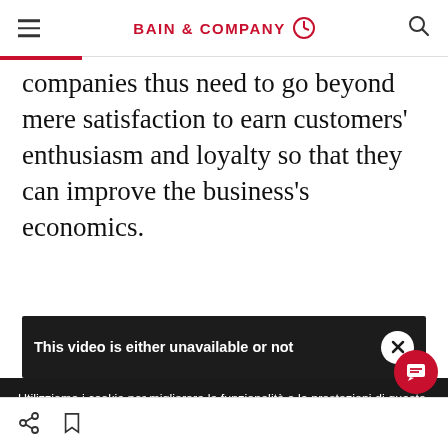BAIN & COMPANY
companies thus need to go beyond mere satisfaction to earn customers' enthusiasm and loyalty so that they can improve the business's economics.
[Figure (screenshot): Video unavailable overlay with text 'This video is either unavailable or not' and a white circle X close button on dark background]
Utilizziamo i cookie per migliorare la funzionalità e le prestazioni di questo sito.
ACCETTA TUTTI I COOKIE